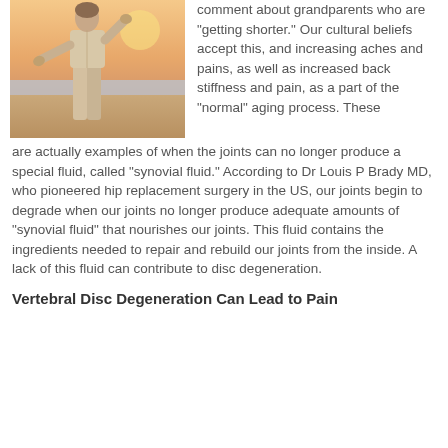[Figure (photo): Person practicing tai chi or stretching on a beach at sunset, wearing light-colored clothing]
comment about grandparents who are "getting shorter." Our cultural beliefs accept this, and increasing aches and pains, as well as increased back stiffness and pain, as a part of the "normal" aging process. These are actually examples of when the joints can no longer produce a special fluid, called "synovial fluid." According to Dr Louis P Brady MD, who pioneered hip replacement surgery in the US, our joints begin to degrade when our joints no longer produce adequate amounts of "synovial fluid" that nourishes our joints. This fluid contains the ingredients needed to repair and rebuild our joints from the inside. A lack of this fluid can contribute to disc degeneration.
Vertebral Disc Degeneration Can Lead to Pain